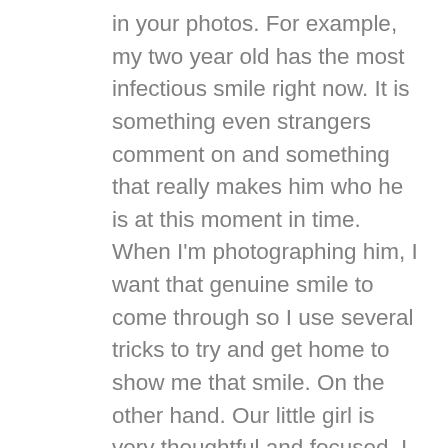in your photos. For example, my two year old has the most infectious smile right now. It is something even strangers comment on and something that really makes him who he is at this moment in time. When I'm photographing him, I want that genuine smile to come through so I use several tricks to try and get home to show me that smile. On the other hand. Our little girl is very thoughtful and focused. I love to get photographs of her where she is involved in an activity where she is displaying this quality naturally. You can read about all the 'capturing personality' tricks I use when photographing kids in this article.